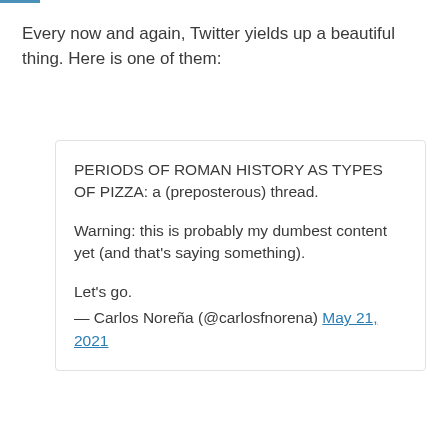Every now and again, Twitter yields up a beautiful thing. Here is one of them:
PERIODS OF ROMAN HISTORY AS TYPES OF PIZZA: a (preposterous) thread.

Warning: this is probably my dumbest content yet (and that's saying something).

Let's go.
— Carlos Noreña (@carlosfnorena) May 21, 2021